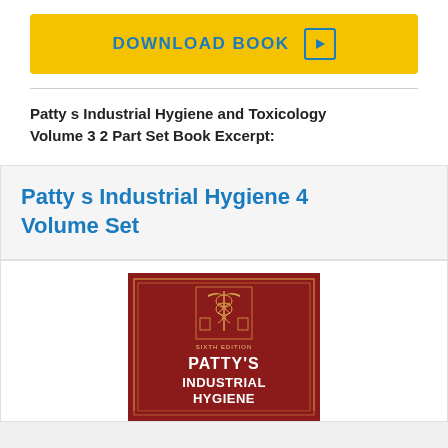[Figure (other): Yellow download book button with play icon]
Patty s Industrial Hygiene and Toxicology Volume 3 2 Part Set Book Excerpt:
Patty s Industrial Hygiene 4 Volume Set
[Figure (photo): Book cover of Patty's Industrial Hygiene Sixth Edition, dark red cover with medical/science emblem and white text]